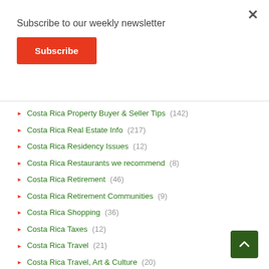Subscribe to our weekly newsletter
Subscribe
Costa Rica Property Buyer & Seller Tips  (142)
Costa Rica Real Estate Info  (217)
Costa Rica Residency Issues  (12)
Costa Rica Restaurants we recommend  (8)
Costa Rica Retirement  (46)
Costa Rica Retirement Communities  (9)
Costa Rica Shopping  (36)
Costa Rica Taxes  (12)
Costa Rica Travel  (21)
Costa Rica Travel, Art & Culture  (20)
Costa Rica Utilities  (19)
Costa Rica Weather  (10)
Driving in Costa Rica  (25)
Home and Garden Maintenance  (4)